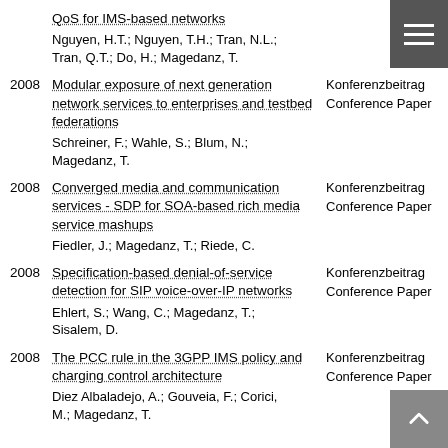QoS for IMS-based networks
Nguyen, H.T.; Nguyen, T.H.; Tran, N.L.; Tran, Q.T.; Do, H.; Magedanz, T.
2008 Modular exposure of next generation network services to enterprises and testbed federations
Schreiner, F.; Wahle, S.; Blum, N.; Magedanz, T.
Konferenzbeitrag Conference Paper
2008 Converged media and communication services - SDP for SOA-based rich media service mashups
Fiedler, J.; Magedanz, T.; Riede, C.
Konferenzbeitrag Conference Paper
2008 Specification-based denial-of-service detection for SIP voice-over-IP networks
Ehlert, S.; Wang, C.; Magedanz, T.; Sisalem, D.
Konferenzbeitrag Conference Paper
2008 The PCC rule in the 3GPP IMS policy and charging control architecture
Diez Albaladejo, A.; Gouveia, F.; Corici, M.; Magedanz, T.
Konferenzbeitrag Conference Paper